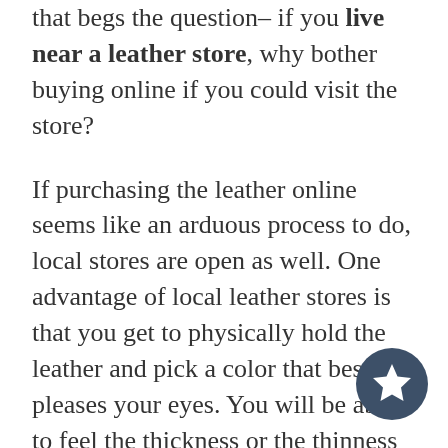that begs the question–if you live near a leather store, why bother buying online if you could visit the store?
If purchasing the leather online seems like an arduous process to do, local stores are open as well. One advantage of local leather stores is that you get to physically hold the leather and pick a color that best pleases your eyes. You will be able to feel the thickness or the thinness and softness of the leather. Shopping online may